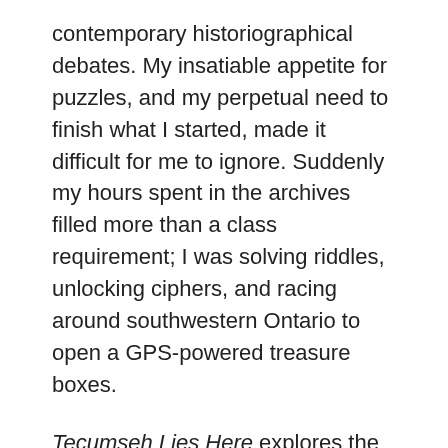contemporary historiographical debates. My insatiable appetite for puzzles, and my perpetual need to finish what I started, made it difficult for me to ignore. Suddenly my hours spent in the archives filled more than a class requirement; I was solving riddles, unlocking ciphers, and racing around southwestern Ontario to open a GPS-powered treasure boxes.
Tecumseh Lies Here explores the life of the Shawnee war-chief Tecumseh, and the myths and controversy surrounding his death and final resting place. Although Tecumseh died at the Battle of the Thames on October 5 1813, his body was never identified, giving rise to rumors that perhaps he had not died or that his body had been spirited away.